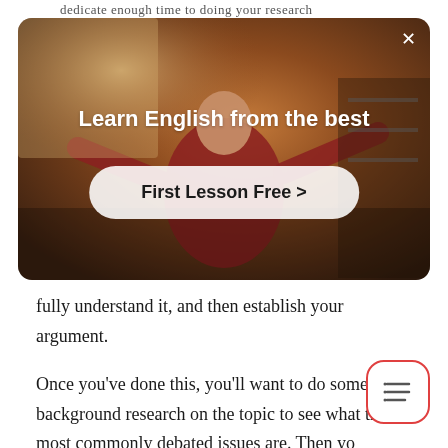dedicate enough time to doing your research
[Figure (screenshot): An advertisement modal overlay showing a person in a red top with arms outstretched in a room, with text 'Learn English from the best' and a 'First Lesson Free >' call-to-action button, and an X close button in the top right corner.]
fully understand it, and then establish your argument.
Once you've done this, you'll want to do some background research on the topic to see what the most commonly debated issues are. Then yo zoom in on the individual points you want to and try to find examples or studies that back them